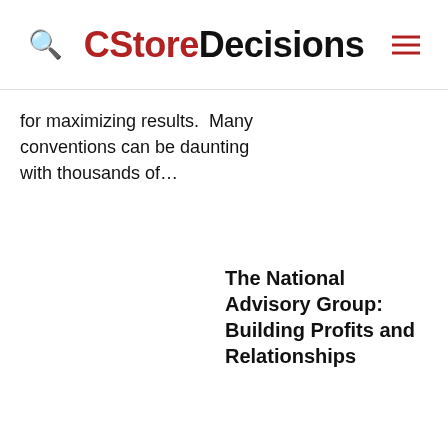CStoreDecisions
for maximizing results.  Many conventions can be daunting with thousands of…
The National Advisory Group: Building Profits and Relationships